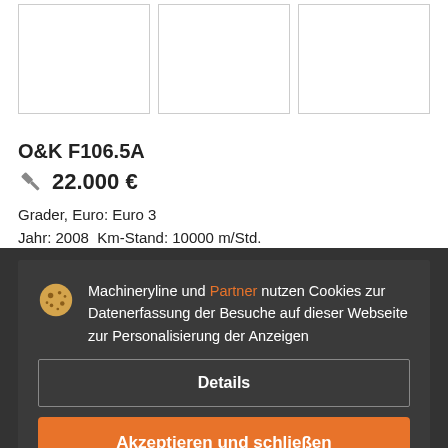[Figure (photo): Three image thumbnail placeholders for machinery listing]
O&K F106.5A
🔨 22.000 €
Grader, Euro: Euro 3
Jahr: 2008  Km-Stand: 10000 m/Std.
Machineryline und Partner nutzen Cookies zur Datenerfassung der Besuche auf dieser Webseite zur Personalisierung der Anzeigen
Details
Akzeptieren und schließen